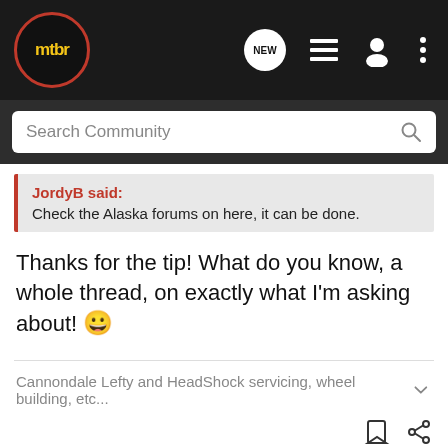mtbr
Search Community
JordyB said:
Check the Alaska forums on here, it can be done.
Thanks for the tip! What do you know, a whole thread, on exactly what I'm asking about! 😀
Cannondale Lefty and HeadShock servicing, wheel building, etc...
[Figure (screenshot): Bass Pro Shops advertisement banner: RELOADING SUPPLIES with SHOP NOW button]